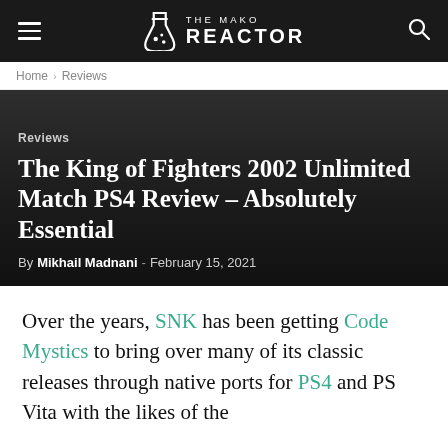THE MAKO REACTOR
Home › Reviews
Reviews
The King of Fighters 2002 Unlimited Match PS4 Review – Absolutely Essential
By Mikhail Madnani - February 15, 2021
Over the years, SNK has been getting Code Mystics to bring over many of its classic releases through native ports for PS4 and PS Vita with the likes of the